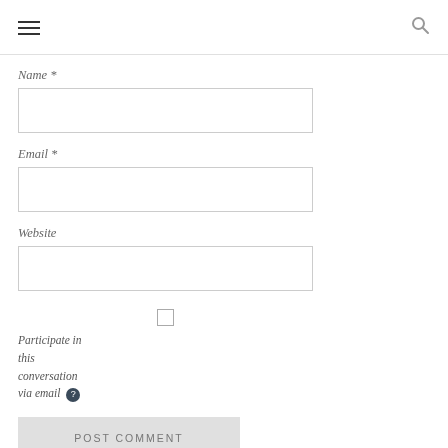☰ [hamburger menu] [search icon]
Name *
[Figure (other): Text input field for Name]
Email *
[Figure (other): Text input field for Email]
Website
[Figure (other): Text input field for Website]
[Figure (other): Checkbox input (unchecked)]
Participate in this conversation via email ?
[Figure (other): POST COMMENT button]